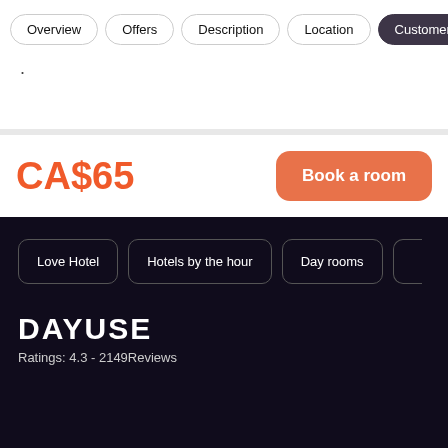Overview | Offers | Description | Location | Customer
CA$65
Book a room
Love Hotel
Hotels by the hour
Day rooms
DAYUSE
Ratings: 4.3 - 2149Reviews
65 CAD
Book a room